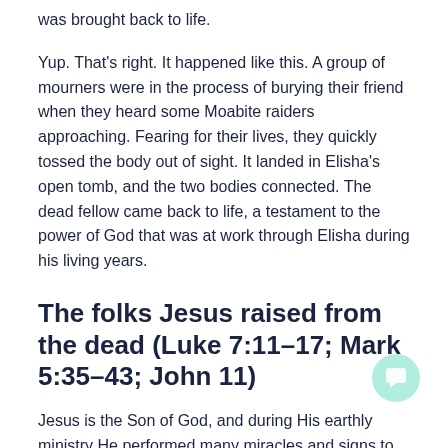was brought back to life.
Yup. That's right. It happened like this. A group of mourners were in the process of burying their friend when they heard some Moabite raiders approaching. Fearing for their lives, they quickly tossed the body out of sight. It landed in Elisha's open tomb, and the two bodies connected. The dead fellow came back to life, a testament to the power of God that was at work through Elisha during his living years.
The folks Jesus raised from the dead (Luke 7:11–17; Mark 5:35–43; John 11)
Jesus is the Son of God, and during His earthly ministry He performed many miracles and signs to reveal the heart of the Father. Among these signs